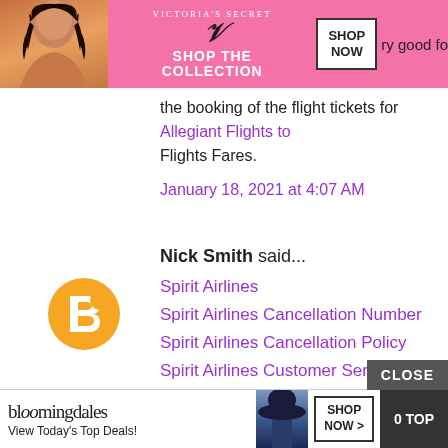[Figure (screenshot): Victoria's Secret advertisement banner with model, logo, 'SHOP THE COLLECTION' text and 'SHOP NOW' button]
the booking of the flight tickets for Allegiant Flights to Flights Fares.
January 18, 2021 at 4:07 AM
Nick Smith said...
[Figure (illustration): Orange Blogger avatar icon]
Spirit Airlines
Spirit Airlines Cancellation Number
Spirit Airlines Cancellation Policy
Spirit Airlines Customer Service
Spirit Airlines Customer Support Number
Spirit Airlines Helpline Number
Spirit Airlines Manage Booking
Spirit Airlines Phone Number
CLOSE
[Figure (screenshot): Bloomingdale's advertisement banner with model, logo, 'View Today's Top Deals!' and 'SHOP NOW >' button, and '0 TOP' button]